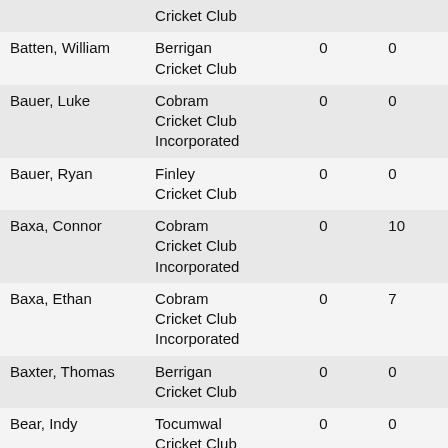| Name | Club | Col3 | Col4 |
| --- | --- | --- | --- |
|  | Cricket Club |  |  |
| Batten, William | Berrigan Cricket Club | 0 | 0 |
| Bauer, Luke | Cobram Cricket Club Incorporated | 0 | 0 |
| Bauer, Ryan | Finley Cricket Club | 0 | 0 |
| Baxa, Connor | Cobram Cricket Club Incorporated | 0 | 10 |
| Baxa, Ethan | Cobram Cricket Club Incorporated | 0 | 7 |
| Baxter, Thomas | Berrigan Cricket Club | 0 | 0 |
| Bear, Indy | Tocumwal Cricket Club | 0 | 0 |
| Beasley, Jack | Cobram Cricket Club Incorporated | 14 | 0 |
| Beaton, | Katamatite Cricket Club | 14 | 0 |